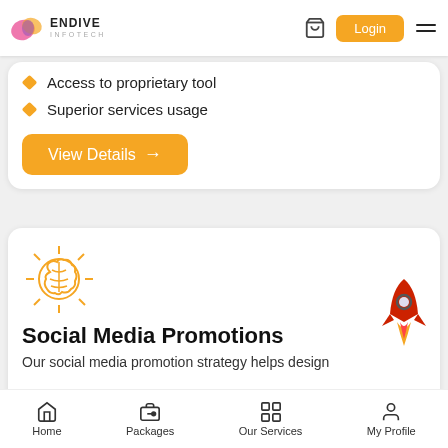Endive Infotech - Login
Access to proprietary tool
Superior services usage
View Details →
[Figure (illustration): Brain with rays icon in orange/yellow color]
Social Media Promotions
Our social media promotion strategy helps design
[Figure (illustration): Rocket emoji illustration]
Home | Packages | Our Services | My Profile